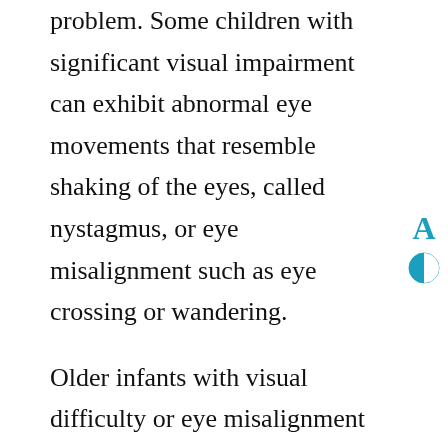problem. Some children with significant visual impairment can exhibit abnormal eye movements that resemble shaking of the eyes, called nystagmus, or eye misalignment such as eye crossing or wandering.
Older infants with visual difficulty or eye misalignment may tilt or turn their heads when viewing. They may also hold objects very close their face to examine them. These signs are usually recognized by parents and brought to the attention of the pediatrician. Any of these concerning visual behaviors warrants a complete eye examination by a pediatric ophthalmologist.